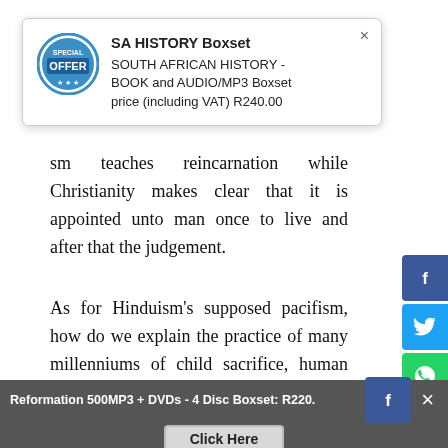[Figure (screenshot): Popup ad for SA HISTORY Boxset showing an offer badge, title 'SA HISTORY Boxset', text 'SOUTH AFRICAN HISTORY - BOOK and AUDIO/MP3 Boxset price (including VAT) R240.00', with a close button (×).]
…sm teaches reincarnation while Christianity makes clear that it is appointed unto man once to live and after that the judgement.
As for Hinduism's supposed pacifism, how do we explain the practice of many millenniums of child sacrifice, human sacrifice, suttee (the burning alive of widows on the funeral pyres of their husbands) - a practice which only the steadfast resistance of Christian missionaries…
[Figure (screenshot): Social media share buttons on the right side: Facebook (blue), Twitter (light blue), WhatsApp (green), Messenger (blue), Google+ (red), Pinterest (dark red), More (gray dots).]
Reformation 500MP3 + DVDs - 4 Disc Boxset: R220.    Click Here